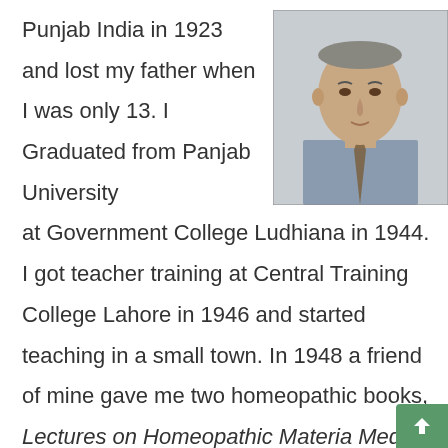Punjab India in 1923 and lost my father when I was only 13. I Graduated from Panjab University at Government College Ludhiana in 1944. I got teacher training at Central Training College Lahore in 1946 and started teaching in a small town. In 1948 a friend of mine gave me two homeopathic books, Lectures on Homeopathic Materia Medica by J.T Kent and Leaders in Homeopath
[Figure (photo): Portrait photo of an elderly man wearing a striped shirt and tie, with a neutral expression, against a light background.]